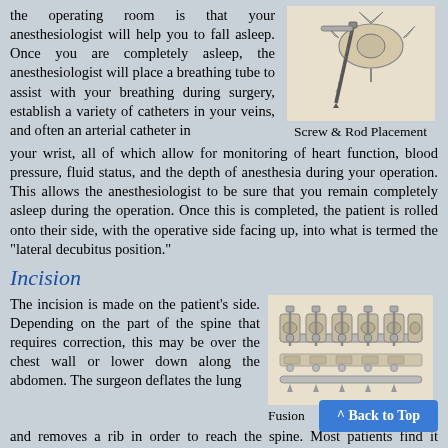the operating room is that your anesthesiologist will help you to fall asleep. Once you are completely asleep, the anesthesiologist will place a breathing tube to assist with your breathing during surgery, establish a variety of catheters in your veins, and often an arterial catheter in your wrist, all of which allow for monitoring of heart function, blood pressure, fluid status, and the depth of anesthesia during your operation. This allows the anesthesiologist to be sure that you remain completely asleep during the operation. Once this is completed, the patient is rolled onto their side, with the operative side facing up, into what is termed the "lateral decubitus position."
[Figure (illustration): Medical illustration of a screw and rod placement in vertebrae]
Screw & Rod Placement
Incision
The incision is made on the patient's side. Depending on the part of the spine that requires correction, this may be over the chest wall or lower down along the abdomen. The surgeon deflates the lung and removes a rib in order to reach the spine. Most patients find it interesting that the rib will grow back over time, especially if you are young. For lower incisions, the surgeon may need to detach the diaphragm to gain access to the spine, especially for thoracolumbar curves and those in the lumbar spine.
[Figure (illustration): Medical illustration showing spinal fusion hardware with multiple screws and rods]
Fusion